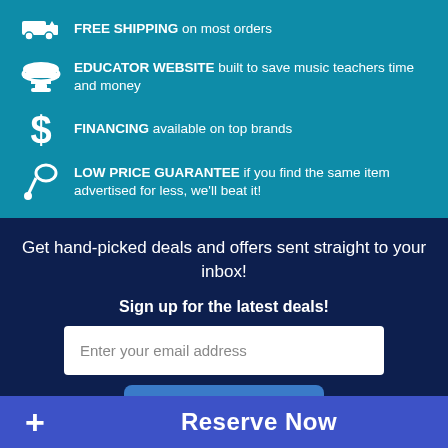FREE SHIPPING on most orders
EDUCATOR WEBSITE built to save music teachers time and money
FINANCING available on top brands
LOW PRICE GUARANTEE if you find the same item advertised for less, we'll beat it!
Get hand-picked deals and offers sent straight to your inbox!
Sign up for the latest deals!
Enter your email address
Subscribe
Reserve Now